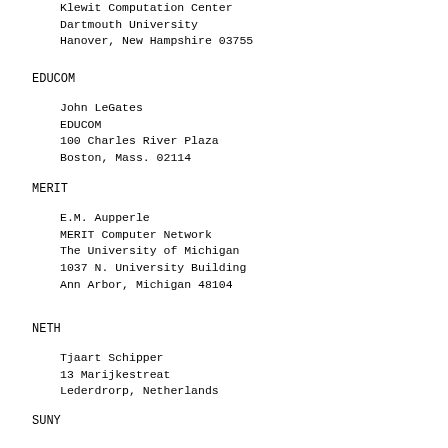Klewit Computation Center
Dartmouth University
Hanover, New Hampshire 03755
EDUCOM
John LeGates
EDUCOM
100 Charles River Plaza
Boston, Mass. 02114
MERIT
E.M. Aupperle
MERIT Computer Network
The University of Michigan
1037 N. University Building
Ann Arbor, Michigan 48104
NETH
Tjaart Schipper
13 Marijkestreat
Lederdrorp, Netherlands
SUNY
Prof. Art J. Bernstein
SUNY Stoneybrook
Dept. of Computer Science